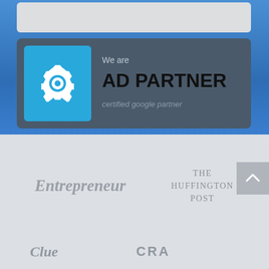[Figure (infographic): Blue background section with a white card at top and a gray card showing AD PARTNER certification badge with gear icon on cyan/blue square background]
We are
AD PARTNER
certified google partner
[Figure (logo): Entrepreneur magazine logo in gray italic serif font]
[Figure (logo): The Huffington Post logo in gray serif uppercase text]
[Figure (logo): Partial logos at bottom of page, cut off]